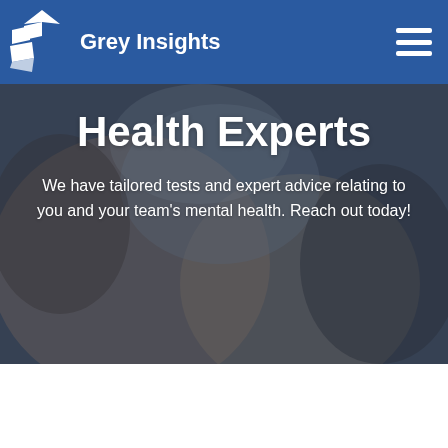[Figure (logo): Grey Insights logo with geometric chevron/arrow shapes in white on blue background, with text 'Grey Insights' in white bold font]
[Figure (photo): Background photo of hands handling medical/optometry equipment, dimmed with dark overlay. Hero banner image.]
Health Experts
We have tailored tests and expert advice relating to you and your team’s mental health. Reach out today!